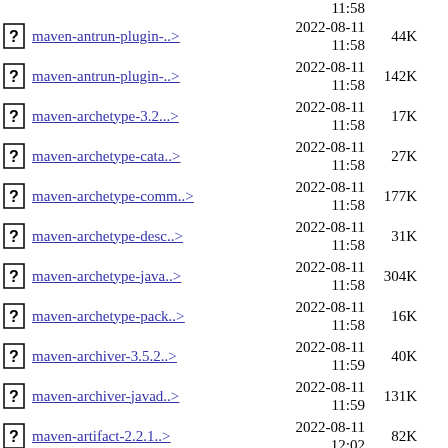maven-antrun-plugin-..> 2022-08-11 11:58 44K
maven-antrun-plugin-..> 2022-08-11 11:58 142K
maven-archetype-3.2...> 2022-08-11 11:58 17K
maven-archetype-cata..> 2022-08-11 11:58 27K
maven-archetype-comm..> 2022-08-11 11:58 177K
maven-archetype-desc..> 2022-08-11 11:58 31K
maven-archetype-java..> 2022-08-11 11:58 304K
maven-archetype-pack..> 2022-08-11 11:58 16K
maven-archiver-3.5.2..> 2022-08-11 11:59 40K
maven-archiver-javad..> 2022-08-11 11:59 131K
maven-artifact-2.2.1..> 2022-08-11 12:02 82K